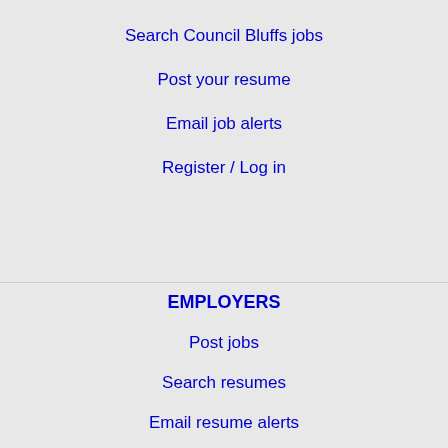Search Council Bluffs jobs
Post your resume
Email job alerts
Register / Log in
EMPLOYERS
Post jobs
Search resumes
Email resume alerts
This website uses cookies to ensure you get the best experience on our website.
Learn more
Got it!
IMMIGRATION SPECIALISTS
Find jobs
Immigration FAQs
Learn more